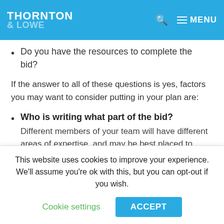THORNTON & LOWE
Do you have the resources to complete the bid?
If the answer to all of these questions is yes, factors you may want to consider putting in your plan are:
Who is writing what part of the bid? Different members of your team will have different areas of expertise, and may be best placed to create the initial draft. Or, you may
This website uses cookies to improve your experience. We'll assume you're ok with this, but you can opt-out if you wish.